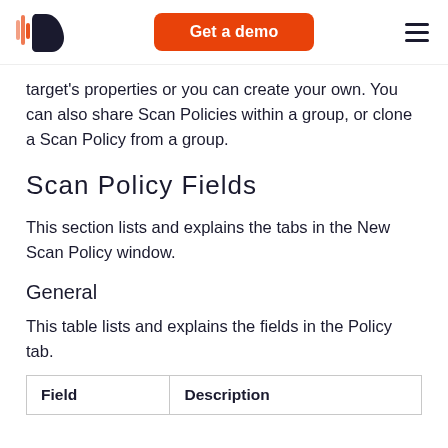Get a demo
target's properties or you can create your own. You can also share Scan Policies within a group, or clone a Scan Policy from a group.
Scan Policy Fields
This section lists and explains the tabs in the New Scan Policy window.
General
This table lists and explains the fields in the Policy tab.
| Field | Description |
| --- | --- |